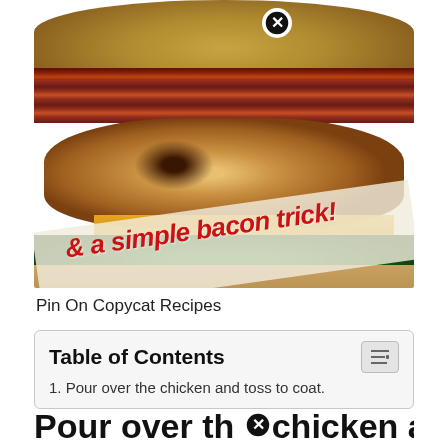[Figure (photo): Close-up photo of a chicken bacon sandwich with lettuce, cheese, and bacon on a sesame bun, with a diagonal banner overlay reading '& a simple bacon trick!']
Pin On Copycat Recipes
| Table of Contents |
| 1. Pour over the chicken and toss to coat. |
Pour over the chicken and